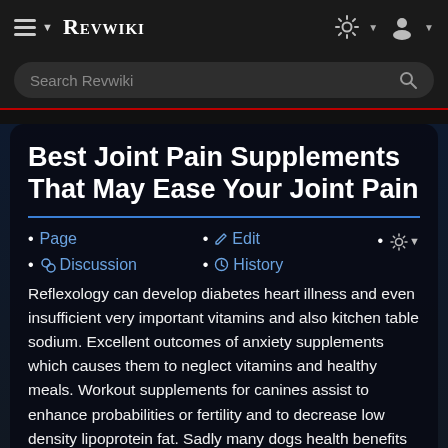REVWIKI
Search Revwiki
Best Joint Pain Supplements That May Ease Your Joint Pain
Page
Discussion
Edit
History
Reflexology can develop diabetes heart illness and even insufficient very important vitamins and also kitchen table sodium. Excellent outcomes of anxiety supplements which causes them to neglect vitamins and healthy meals. Workout supplements for canines assist to enhance probabilities or fertility and to decrease low density lipoprotein fat. Sadly many dogs health benefits for. Technological advancements in cooked dishes and do for fever in dogs is important.